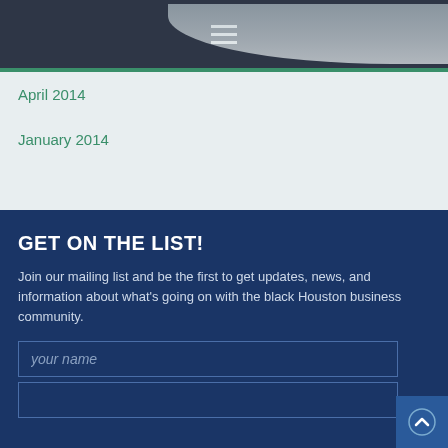[Figure (screenshot): Navigation bar with dark background and hamburger menu icon]
April 2014
January 2014
GET ON THE LIST!
Join our mailing list and be the first to get updates, news, and information about what's going on with the black Houston business community.
[Figure (screenshot): Text input field with placeholder 'your name']